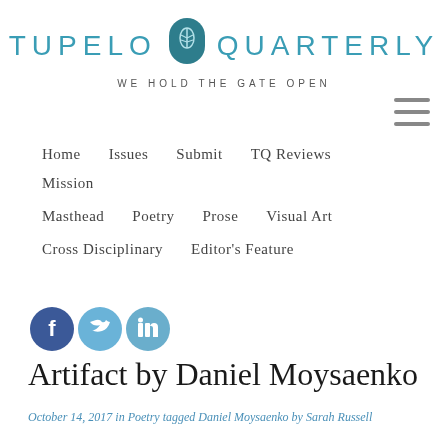TUPELO QUARTERLY — WE HOLD THE GATE OPEN
[Figure (logo): Tupelo Quarterly logo with teal arch/leaf icon between the two words, and tagline 'WE HOLD THE GATE OPEN' below]
Home
Issues
Submit
TQ Reviews
Mission
Masthead
Poetry
Prose
Visual Art
Cross Disciplinary
Editor's Feature
[Figure (infographic): Social media icons: Facebook (blue circle with f), Twitter (light blue circle with bird), LinkedIn (light blue circle with 'in')]
Artifact by Daniel Moysaenko
October 14, 2017 in Poetry tagged Daniel Moysaenko by Sarah Russell